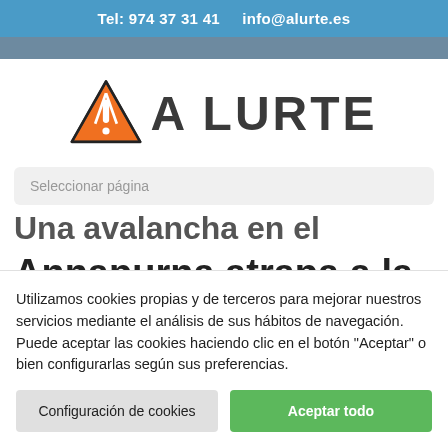Tel: 974 37 31 41    info@alurte.es
[Figure (logo): A Lurte logo: orange warning triangle with exclamation mark and bold text 'A LURTE']
Seleccionar página
Una avalancha en el Annapurna atrapa a la
Utilizamos cookies propias y de terceros para mejorar nuestros servicios mediante el análisis de sus hábitos de navegación. Puede aceptar las cookies haciendo clic en el botón "Aceptar" o bien configurarlas según sus preferencias.
Configuración de cookies | Aceptar todo